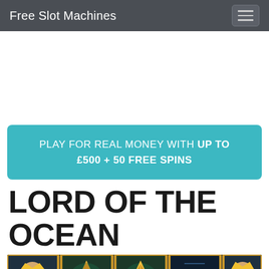Free Slot Machines
PLAY FOR REAL MONEY WITH UP TO £500 + 50 FREE SPINS
LORD OF THE OCEAN
[Figure (screenshot): Lord of the Ocean slot machine game screenshot showing reels with pyramid symbols, trident/II symbol, and Neptune/sea king character on gold-framed reels against a dark ocean background]